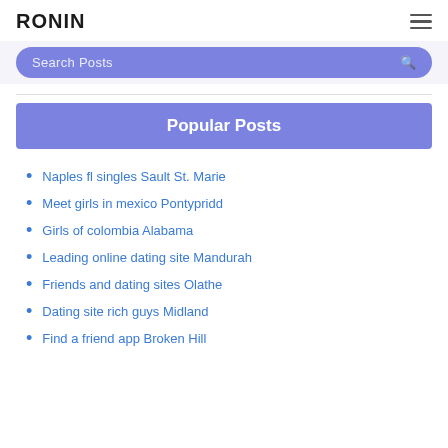RONIN
[Figure (other): Search Posts input bar with purple/periwinkle background and search icon]
Popular Posts
Naples fl singles Sault St. Marie
Meet girls in mexico Pontypridd
Girls of colombia Alabama
Leading online dating site Mandurah
Friends and dating sites Olathe
Dating site rich guys Midland
Find a friend app Broken Hill